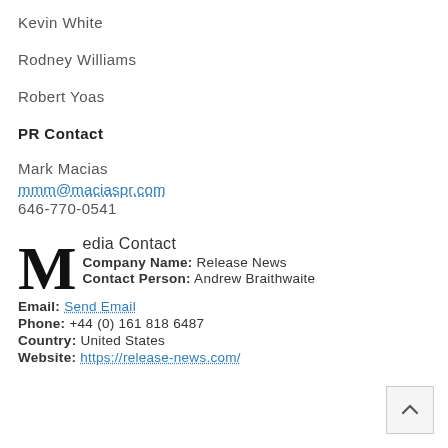Kevin White
Rodney Williams
Robert Yoas
PR Contact
Mark Macias
mmm@maciaspr.com
646-770-0541
Media Contact
Company Name: Release News
Contact Person: Andrew Braithwaite
Email: Send Email
Phone: +44 (0) 161 818 6487
Country: United States
Website: https://release-news.com/